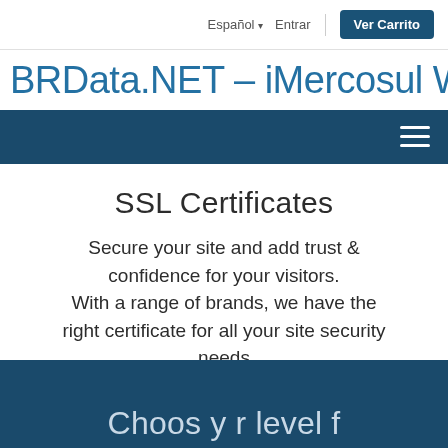Español ▾   Entrar   |   Ver Carrito
BRData.NET – iMercosul W
[Figure (screenshot): Dark blue navigation menu bar with hamburger icon (three horizontal lines) on the right side]
SSL Certificates
Secure your site and add trust & confidence for your visitors. With a range of brands, we have the right certificate for all your site security needs
Choos y r level f